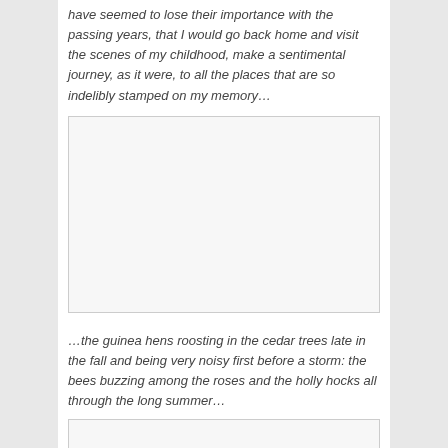have seemed to lose their importance with the passing years, that I would go back home and visit the scenes of my childhood, make a sentimental journey, as it were, to all the places that are so indelibly stamped on my memory…
[Figure (photo): A blank/empty image placeholder box with light gray border]
…the guinea hens roosting in the cedar trees late in the fall and being very noisy first before a storm: the bees buzzing among the roses and the holly hocks all through the long summer…
[Figure (photo): A blank/empty image placeholder box with light gray border (partial, cut off at bottom)]